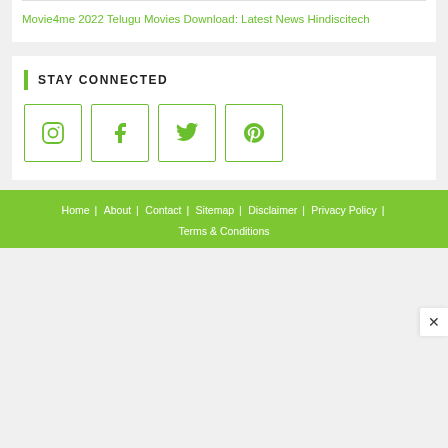Movie4me 2022 Telugu Movies Download: Latest News Hindiscitech
STAY CONNECTED
[Figure (other): Social media icons for Instagram, Facebook, Twitter, Pinterest as square bordered buttons]
Home | About | Contact | Sitemap | Disclaimer | Privacy Policy | Terms & Conditions